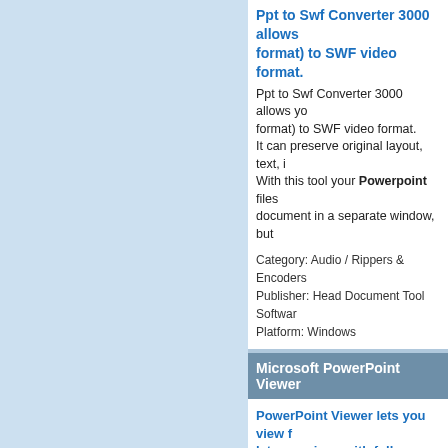Ppt to Swf Converter 3000 allows (format) to SWF video format.
Ppt to Swf Converter 3000 allows yo format) to SWF video format. It can preserve original layout, text, i With this tool your Powerpoint files document in a separate window, but
Category: Audio / Rippers & Encoders Publisher: Head Document Tool Softwar Platform: Windows
Microsoft PowerPoint Viewer
PowerPoint Viewer lets you view f later versions with full fidelity.
Powerpoint Viewer lets you view fu versions with full fidelity. This viewer Powerpoint presentations. You can
Category: Business & Finance / Applica Publisher: microsoft.com, License: Free Platform: Windows, Mac, Vista, 2008
PowerPoint Add-in by Banxia
PowerPoint Add-in by Banxia is de
Powerpoint Add-in by Banxia is dev Powerpoint Add-in by Banxia adds a To use the add-in, uninstall the Inte